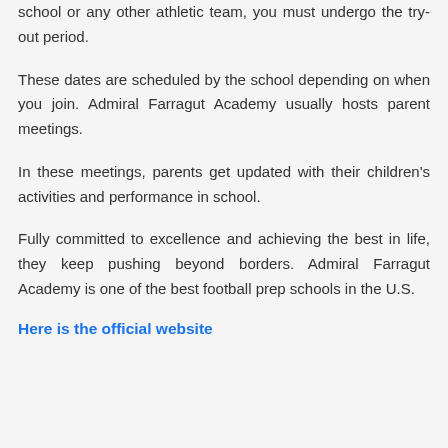school or any other athletic team, you must undergo the try-out period.
These dates are scheduled by the school depending on when you join. Admiral Farragut Academy usually hosts parent meetings.
In these meetings, parents get updated with their children's activities and performance in school.
Fully committed to excellence and achieving the best in life, they keep pushing beyond borders. Admiral Farragut Academy is one of the best football prep schools in the U.S.
Here is the official website